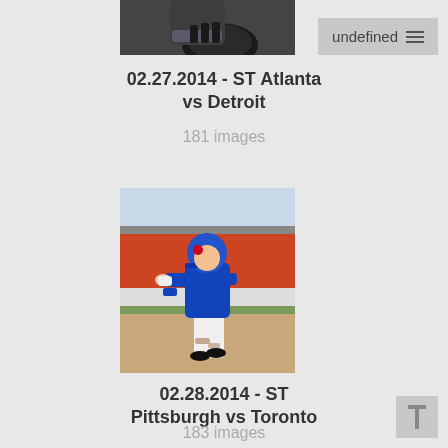[Figure (photo): Top portion of a baseball catcher in dark uniform with catching gear, photo cropped]
undefined
02.27.2014 - ST Atlanta vs Detroit
181 images
[Figure (photo): Baseball player in blue Toronto Blue Jays uniform running on field]
02.28.2014 - ST Pittsburgh vs Toronto
183 images